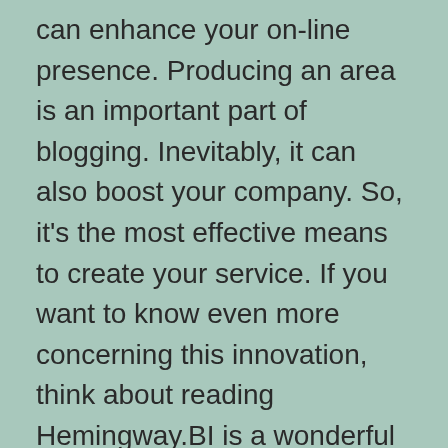can enhance your on-line presence. Producing an area is an important part of blogging. Inevitably, it can also boost your company. So, it's the most effective means to create your service. If you want to know even more concerning this innovation, think about reading Hemingway.BI is a wonderful way to improve your writing.
A blog site is an outstanding method to spread understanding concerning a topic and gain direct exposure. It's a conversational activity that intends to create and reflect a community. In addition to sharing your viewpoints, blogging